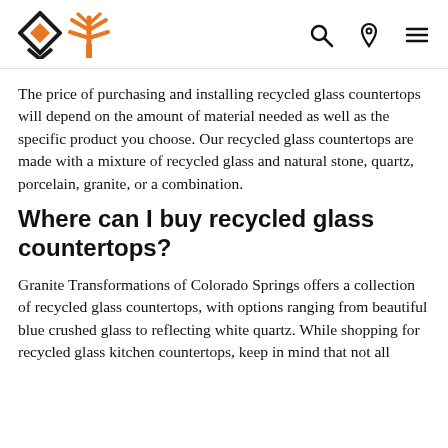[Logo: Granite Transformations brand logos]
The price of purchasing and installing recycled glass countertops will depend on the amount of material needed as well as the specific product you choose. Our recycled glass countertops are made with a mixture of recycled glass and natural stone, quartz, porcelain, granite, or a combination.
Where can I buy recycled glass countertops?
Granite Transformations of Colorado Springs offers a collection of recycled glass countertops, with options ranging from beautiful blue crushed glass to reflecting white quartz. While shopping for recycled glass kitchen countertops, keep in mind that not all